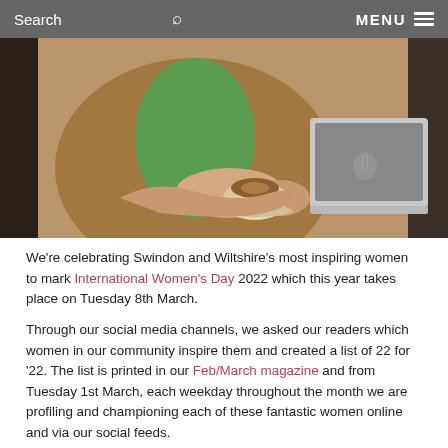Search   MENU
[Figure (photo): A person in a brown jacket and green top holding a coffee cup, working on a laptop computer, viewed from above/side angle.]
We're celebrating Swindon and Wiltshire's most inspiring women to mark International Women's Day 2022 which this year takes place on Tuesday 8th March.
Through our social media channels, we asked our readers which women in our community inspire them and created a list of 22 for '22. The list is printed in our Feb/March magazine and from Tuesday 1st March, each weekday throughout the month we are profiling and championing each of these fantastic women online and via our social feeds.
Today we put the spotlight on Michelle Eddahar.
Michelle is the Founder of award-winning Business Women